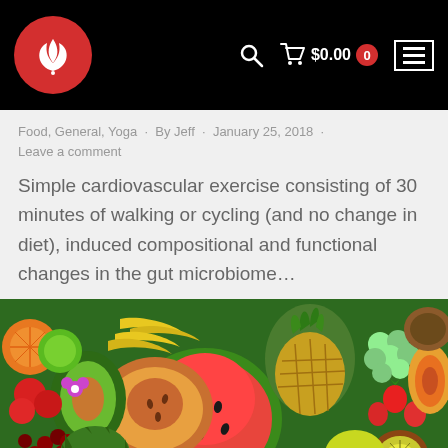Food, General, Yoga · By Jeff · January 25, 2018 · Leave a comment
Simple cardiovascular exercise consisting of 30 minutes of walking or cycling (and no change in diet), induced compositional and functional changes in the gut microbiome…
[Figure (photo): Colorful assortment of tropical and common fruits including watermelon, pineapple, avocado, papaya, bananas, grapes, strawberries, kiwi, melon, and other fruits piled together]